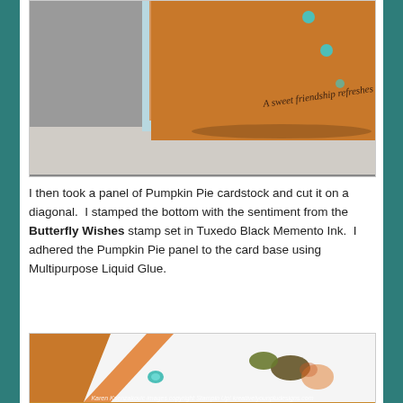[Figure (photo): Handmade greeting card standing upright on a surface, showing a Pumpkin Pie orange cardstock panel cut diagonally, with a cursive sentiment reading 'A sweet friendship refreshes the soul', a light blue cardstock layer visible behind, and teal gem/button embellishments on the right side.]
I then took a panel of Pumpkin Pie cardstock and cut it on a diagonal.  I stamped the bottom with the sentiment from the Butterfly Wishes stamp set in Tuxedo Black Memento Ink.  I adhered the Pumpkin Pie panel to the card base using Multipurpose Liquid Glue.
[Figure (photo): Close-up of a handmade card showing a white panel with a butterfly stamp, orange floral stamping, teal gem embellishments, and an orange diagonal Pumpkin Pie cardstock strip on the side. Watermark text at the bottom reads: Karen Ksenzakovic images copyright Stampin Up! kreativelyounpludesigns.com]